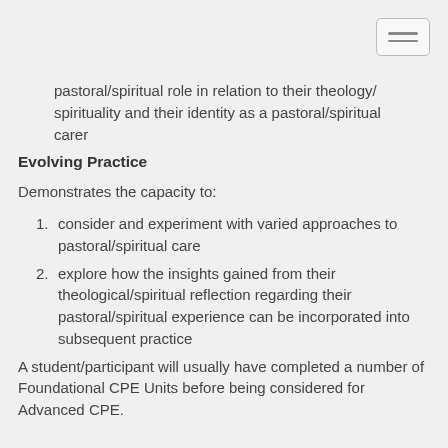pastoral/spiritual role in relation to their theology/spirituality and their identity as a pastoral/spiritual carer
Evolving Practice
Demonstrates the capacity to:
consider and experiment with varied approaches to pastoral/spiritual care
explore how the insights gained from their theological/spiritual reflection regarding their pastoral/spiritual experience can be incorporated into subsequent practice
A student/participant will usually have completed a number of Foundational CPE Units before being considered for Advanced CPE.